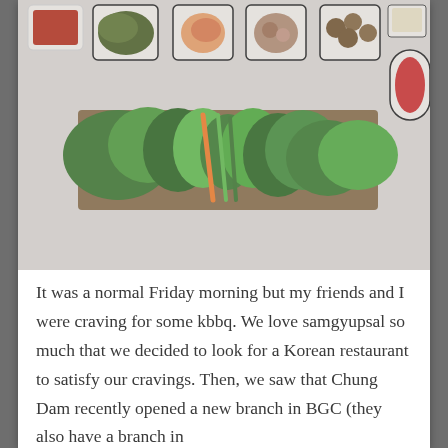[Figure (photo): Overhead view of a Korean BBQ table spread with various banchan (side dishes) in small white square and round plates, a large tray of fresh leafy greens and vegetables in the center, and various condiments arranged on a white table.]
It was a normal Friday morning but my friends and I were craving for some kbbq. We love samgyupsal so much that we decided to look for a Korean restaurant to satisfy our cravings. Then, we saw that Chung Dam recently opened a new branch in BGC (they also have a branch in